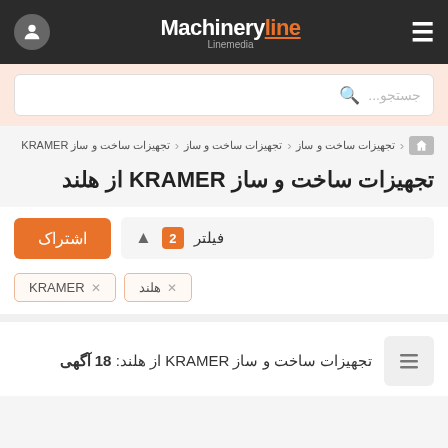Machineryline Linemedia
جستجو...
تجهیزات ساخت و ساز > تجهیزات ساخت و ساز > تجهیزات ساخت و ساز KRAMER
تجهیزات ساخت و ساز KRAMER از هلند
اشتراک
فیلتر 2
هلند ×
KRAMER ×
تجهیزات ساخت و ساز KRAMER از هلند: 18 آگهی